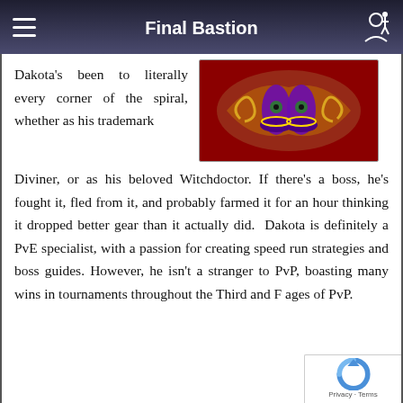Final Bastion
Dakota's been to literally every corner of the spiral, whether as his trademark Diviner, or as his beloved Witchdoctor. If there's a boss, he's fought it, fled from it, and probably farmed it for an hour thinking it dropped better gear than it actually did. Dakota is definitely a PvE specialist, with a passion for creating speed run strategies and boss guides. However, he isn't a stranger to PvP, boasting many wins in tournaments throughout the Third and F ages of PvP.
[Figure (screenshot): Screenshot from a fantasy game showing character boots/shoes on a decorative red carpet with swirling golden patterns.]